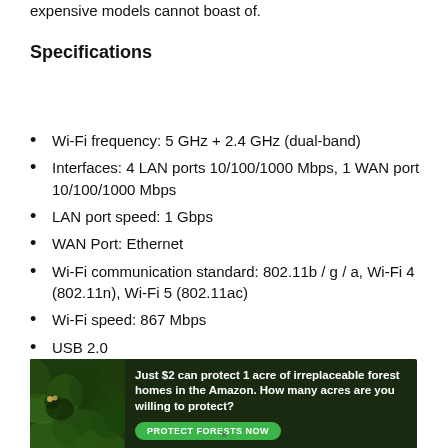expensive models cannot boast of.
Specifications
Wi-Fi frequency: 5 GHz + 2.4 GHz (dual-band)
Interfaces: 4 LAN ports 10/100/1000 Mbps, 1 WAN port 10/100/1000 Mbps
LAN port speed: 1 Gbps
WAN Port: Ethernet
Wi-Fi communication standard: 802.11b / g / a, Wi-Fi 4 (802.11n), Wi-Fi 5 (802.11ac)
Wi-Fi speed: 867 Mbps
USB 2.0
[Figure (other): Advertisement banner: Just $2 can protect 1 acre of irreplaceable forest homes in the Amazon. How many acres are you willing to protect? PROTECT FORESTS NOW button. Dark green background with jungle/wildlife imagery.]
×